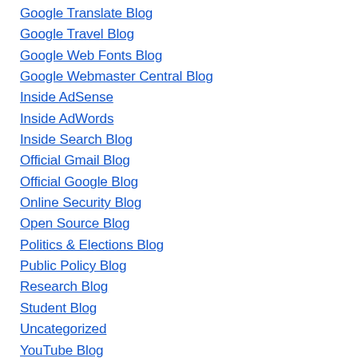Google Translate Blog
Google Travel Blog
Google Web Fonts Blog
Google Webmaster Central Blog
Inside AdSense
Inside AdWords
Inside Search Blog
Official Gmail Blog
Official Google Blog
Online Security Blog
Open Source Blog
Politics & Elections Blog
Public Policy Blog
Research Blog
Student Blog
Uncategorized
YouTube Blog
YouTube Blog – Australia
YouTube Blog – U.K.